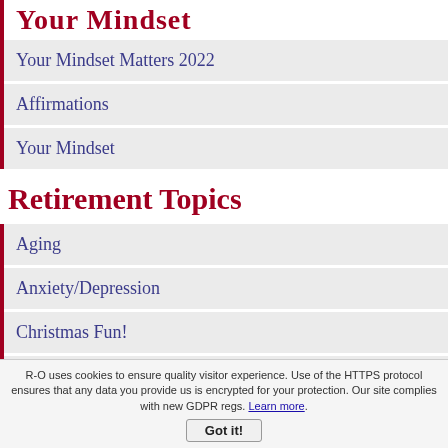Your Mindset Matters 2022
Affirmations
Your Mindset
Retirement Topics
Aging
Anxiety/Depression
Christmas Fun!
Death
Disability
Divorce
R-O uses cookies to ensure quality visitor experience. Use of the HTTPS protocol ensures that any data you provide us is encrypted for your protection. Our site complies with new GDPR regs. Learn more. Got it!